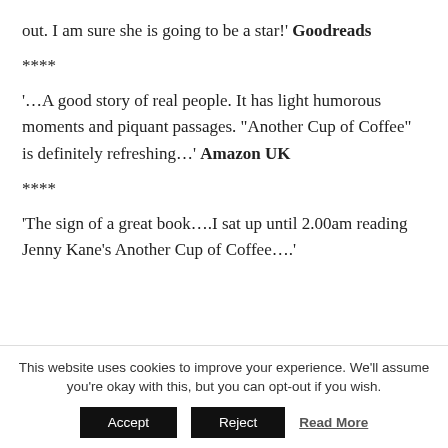out. I am sure she is going to be a star!' Goodreads
****
'…A good story of real people. It has light humorous moments and piquant passages. “Another Cup of Coffee” is definitely refreshing…' Amazon UK
****
‘The sign of a great book….I sat up until 2.00am reading Jenny Kane’s Another Cup of Coffee….’
This website uses cookies to improve your experience. We'll assume you're okay with this, but you can opt-out if you wish.
Accept   Reject   Read More